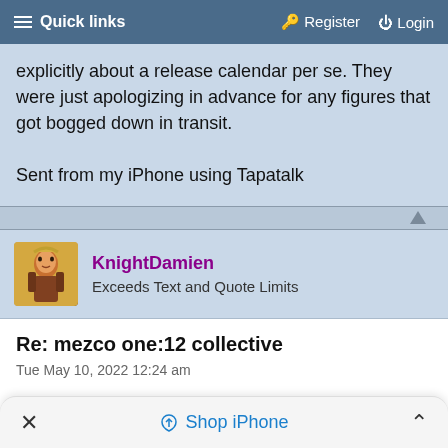Quick links   Register   Login
explicitly about a release calendar per se. They were just apologizing in advance for any figures that got bogged down in transit.

Sent from my iPhone using Tapatalk
KnightDamien
Exceeds Text and Quote Limits
Re: mezco one:12 collective
Tue May 10, 2022 12:24 am
× Shop iPhone ^